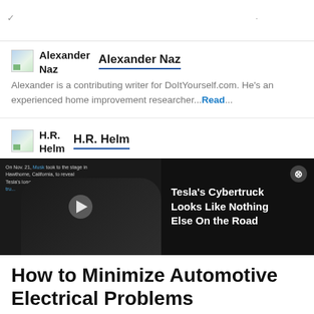Alexander Naz
Alexander is a contributing writer for DoItYourself.com. He's an experienced home improvement researcher... Read...
H.R. Helm
[Figure (screenshot): Video player bar showing Tesla Cybertruck news clip with Elon Musk on stage, title: Tesla's Cybertruck Looks Like Nothing Else On the Road]
How to Minimize Automotive Electrical Problems